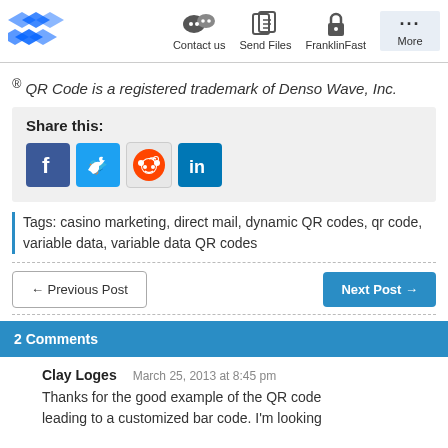Contact us | Send Files | FranklinFast | More
® QR Code is a registered trademark of Denso Wave, Inc.
Share this:
Tags: casino marketing, direct mail, dynamic QR codes, qr code, variable data, variable data QR codes
← Previous Post
Next Post →
2 Comments
Clay Loges
March 25, 2013 at 8:45 pm
Thanks for the good example of the QR code leading to a customized bar code. I'm looking